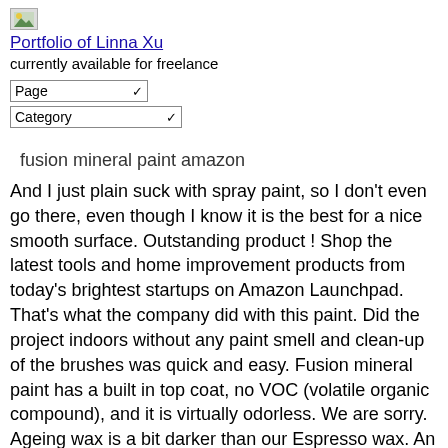Portfolio of Linna Xu
currently available for freelance
Page
Category
fusion mineral paint amazon
And I just plain suck with spray paint, so I don't even go there, even though I know it is the best for a nice smooth surface. Outstanding product ! Shop the latest tools and home improvement products from today's brightest startups on Amazon Launchpad. That's what the company did with this paint. Did the project indoors without any paint smell and clean-up of the brushes was quick and easy. Fusion mineral paint has a built in top coat, no VOC (volatile organic compound), and it is virtually odorless. We are sorry. Ageing wax is a bit darker than our Espresso wax. An Honest Review of Fusion Mineral Paint. I bought the coal black